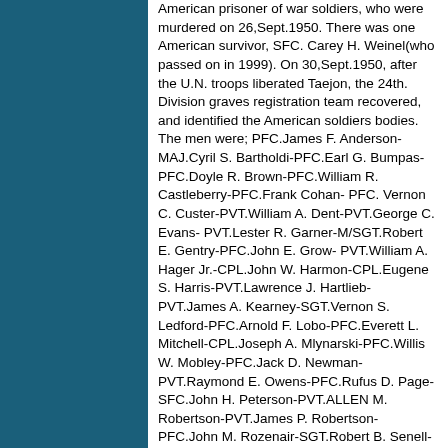American prisoner of war soldiers, who were murdered on 26,Sept.1950. There was one American survivor, SFC. Carey H. Weinel(who passed on in 1999). On 30,Sept.1950, after the U.N. troops liberated Taejon, the 24th. Division graves registration team recovered, and identified the American soldiers bodies. The men were; PFC.James F. Anderson-MAJ.Cyril S. Bartholdi-PFC.Earl G. Bumpas- PFC.Doyle R. Brown-PFC.William R. Castleberry-PFC.Frank Cohan- PFC. Vernon C. Custer-PVT.William A. Dent-PVT.George C. Evans- PVT.Lester R. Garner-M/SGT.Robert E. Gentry-PFC.John E. Grow- PVT.William A. Hager Jr.-CPL.John W. Harmon-CPL.Eugene S. Harris-PVT.Lawrence J. Hartlieb-PVT.James A. Kearney-SGT.Vernon S. Ledford-PFC.Arnold F. Lobo-PFC.Everett L. Mitchell-CPL.Joseph A. Mlynarski-PFC.Willis W. Mobley-PFC.Jack D. Newman-PVT.Raymond E. Owens-PFC.Rufus D. Page-SFC.John H. Peterson-PVT.ALLEN M. Robertson-PVT.James P. Robertson-PFC.John M. Rozenair-SGT.Robert B. Senell-PVT.William G.Sewell Jr.-PVT.Toney J. Sherard-SGT.Howard R. Shuck-PVT.Raymond A. Snyder-PFC.Robert J. Stein- PFC.John R.